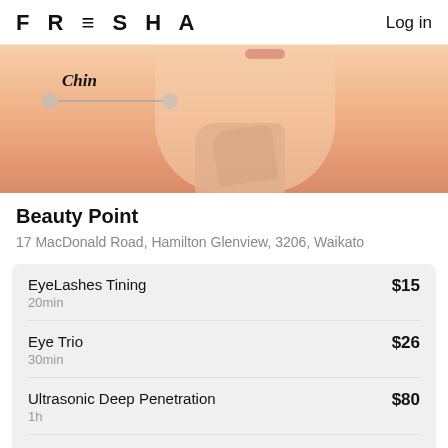FRESHA    Log in
[Figure (photo): Beauty salon photo showing lower face/chin area of a woman with hand raised to chin, with 'Chin' label annotation overlay]
Beauty Point
17 MacDonald Road, Hamilton Glenview, 3206, Waikato
| Service | Duration | Price |
| --- | --- | --- |
| EyeLashes Tining | 20min | $15 |
| Eye Trio | 30min | $26 |
| Ultrasonic Deep Penetration | 1h | $80 |
| Full Body |  | $130 |